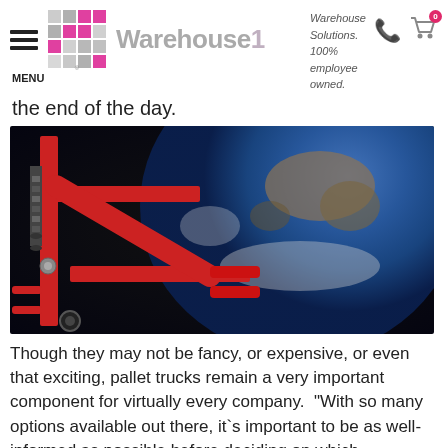[Figure (logo): Warehouse1 logo with grid/building icon and stylized text]
Warehouse Solutions. 100% employee owned.
the end of the day.
[Figure (photo): Close-up photo of a red pallet truck against a background showing Earth from space]
Though they may not be fancy, or expensive, or even that exciting, pallet trucks remain a very important component for virtually every company. "With so many options available out there, it`s important to be as well-informed as possible before deciding on which